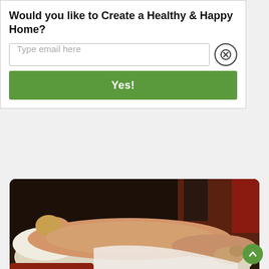Would you like to Create a Healthy & Happy Home?
Type email here
Yes!
[Figure (photo): Renaissance painting of a reclining nude figure (Venus of Urbino style) on white drapery with a small dog and red cushions, classical painting style]
IDEAS
MY UNIQUE HOME
YOUR STYLE
Famous Renaissance Paintings Are Even More Surreal as Modern Photos